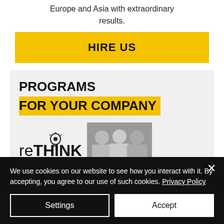Europe and Asia with extraordinary results.
[Figure (other): Yellow 'HIRE US' button]
[Figure (other): Programs for your company banner with reTHINK logo and team photo]
We use cookies on our website to see how you interact with it. By accepting, you agree to our use of such cookies. Privacy Policy
Settings
Accept